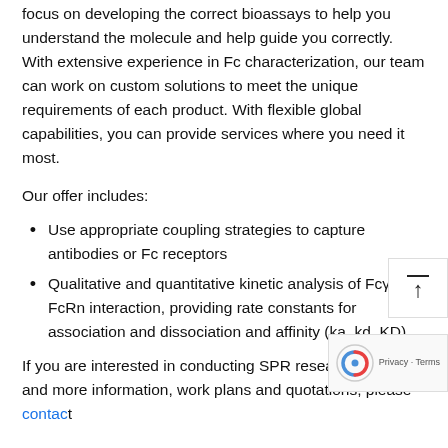focus on developing the correct bioassays to help you understand the molecule and help guide you correctly. With extensive experience in Fc characterization, our team can work on custom solutions to meet the unique requirements of each product. With flexible global capabilities, you can provide services where you need it most.
Our offer includes:
Use appropriate coupling strategies to capture antibodies or Fc receptors
Qualitative and quantitative kinetic analysis of FcγR/ FcRn interaction, providing rate constants for association and dissociation and affinity (ka, kd, KD)
If you are interested in conducting SPR research with us and more information, work plans and quotations, please contact us...